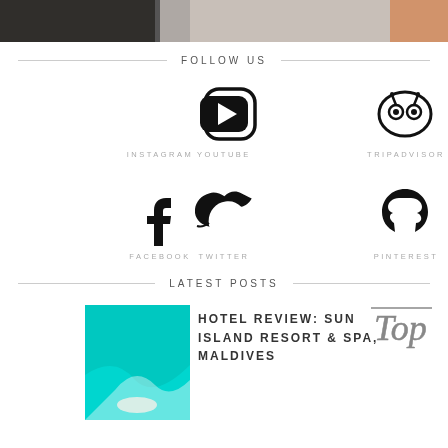[Figure (photo): Top partial photo strip showing a room or interior scene]
FOLLOW US
[Figure (logo): Instagram icon]
[Figure (logo): YouTube icon]
[Figure (logo): TripAdvisor icon]
INSTAGRAM
YOUTUBE
TRIPADVISOR
[Figure (logo): Facebook icon]
[Figure (logo): Twitter icon]
[Figure (logo): Pinterest icon]
FACEBOOK
TWITTER
PINTEREST
LATEST POSTS
[Figure (photo): Aerial photo of Maldives island with turquoise water]
HOTEL REVIEW: SUN ISLAND RESORT & SPA, MALDIVES